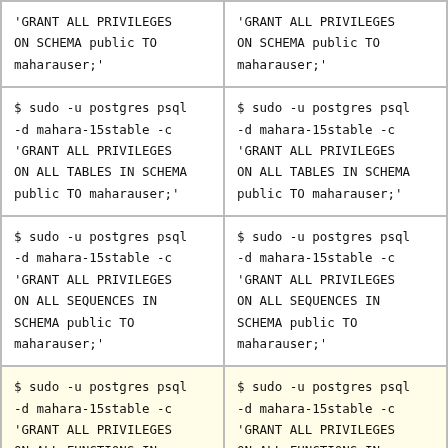'GRANT ALL PRIVILEGES ON SCHEMA public TO maharauser;'
'GRANT ALL PRIVILEGES ON SCHEMA public TO maharauser;'
$ sudo -u postgres psql -d mahara-15stable -c 'GRANT ALL PRIVILEGES ON ALL TABLES IN SCHEMA public TO maharauser;'
$ sudo -u postgres psql -d mahara-15stable -c 'GRANT ALL PRIVILEGES ON ALL TABLES IN SCHEMA public TO maharauser;'
$ sudo -u postgres psql -d mahara-15stable -c 'GRANT ALL PRIVILEGES ON ALL SEQUENCES IN SCHEMA public TO maharauser;'
$ sudo -u postgres psql -d mahara-15stable -c 'GRANT ALL PRIVILEGES ON ALL SEQUENCES IN SCHEMA public TO maharauser;'
$ sudo -u postgres psql -d mahara-15stable -c 'GRANT ALL PRIVILEGES ON ALL FUNCTIONS IN SCHEMA public TO maharauser;'
$ sudo -u postgres psql -d mahara-15stable -c 'GRANT ALL PRIVILEGES ON ALL FUNCTIONS IN SCHEMA public TO maharauser;'